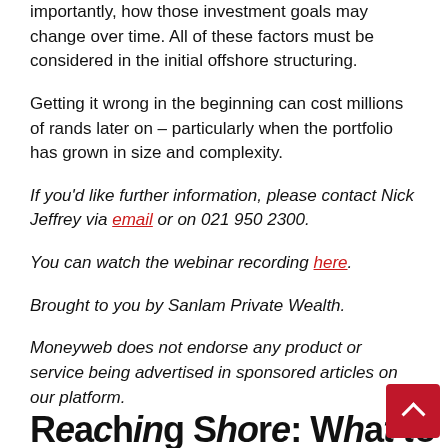importantly, how those investment goals may change over time. All of these factors must be considered in the initial offshore structuring.
Getting it wrong in the beginning can cost millions of rands later on – particularly when the portfolio has grown in size and complexity.
If you'd like further information, please contact Nick Jeffrey via email or on 021 950 2300.
You can watch the webinar recording here.
Brought to you by Sanlam Private Wealth.
Moneyweb does not endorse any product or service being advertised in sponsored articles on our platform.
Reaching Shore: What to...